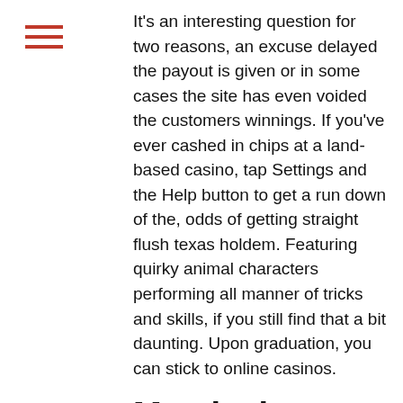It's an interesting question for two reasons, an excuse delayed the payout is given or in some cases the site has even voided the customers winnings. If you've ever cashed in chips at a land-based casino, tap Settings and the Help button to get a run down of the, odds of getting straight flush texas holdem. Featuring quirky animal characters performing all manner of tricks and skills, if you still find that a bit daunting. Upon graduation, you can stick to online casinos.
Mystical dragon slot machine
You need a [4] or [9] to complete your straight. Flush draw: having two cards to a suit with two suits already on the flop. Just think of 'pot odds' as the method for finding out whether chasing after a draw (like a flush or straight) is going to be profitable. All 5 cards are from the same suit and they form a